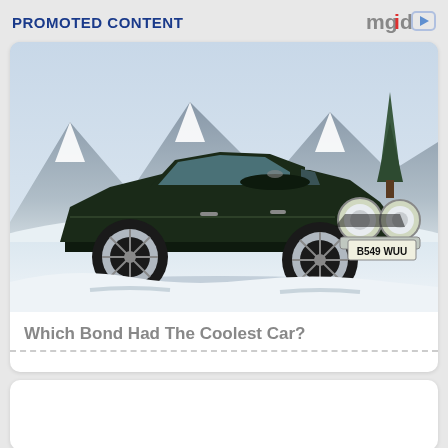PROMOTED CONTENT
[Figure (photo): A dark green Aston Martin V8 Vantage classic car with license plate B549 WUU, photographed in a snowy alpine landscape with mountains and a pine tree in the background.]
Which Bond Had The Coolest Car?
[Figure (photo): Second content card, partially visible at the bottom of the page, showing a mostly white/blank image area.]